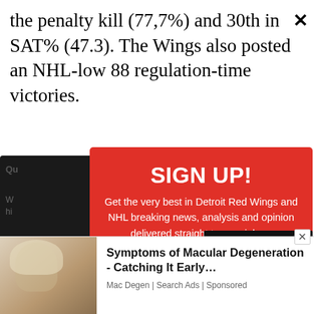the penalty kill (77,7%) and 30th in SAT% (47.3). The Wings also posted an NHL-low 88 regulation-time victories.
[Figure (screenshot): Email sign-up modal overlay on a sports news website. Red background modal with title 'SIGN UP!', body text 'Get the very best in Detroit Red Wings and NHL breaking news, analysis and opinion delivered straight to your inbox.', email input field placeholder 'Enter your email here'. Background shows partial dark card content. Bottom shows video player overlay and advertisement for 'Symptoms of Macular Degeneration - Catching It Early...' from Mac Degen | Search Ads | Sponsored.]